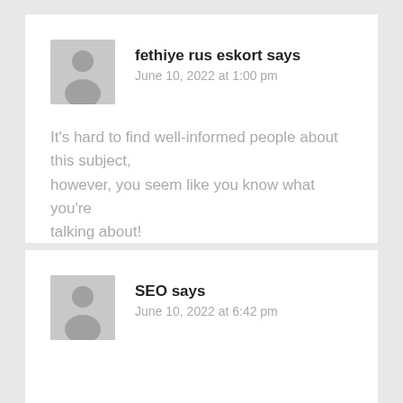[Figure (illustration): Grey avatar placeholder with person silhouette icon]
fethiye rus eskort says
June 10, 2022 at 1:00 pm
It's hard to find well-informed people about this subject,
however, you seem like you know what you're talking about!
Thanks
Reply
[Figure (illustration): Grey avatar placeholder with person silhouette icon]
SEO says
June 10, 2022 at 6:42 pm